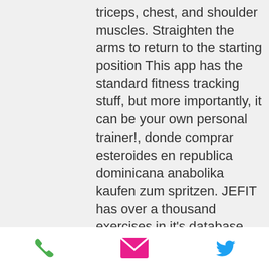triceps, chest, and shoulder muscles. Straighten the arms to return to the starting position
This app has the standard fitness tracking stuff, but more importantly, it can be your own personal trainer!, donde comprar esteroides en republica dominicana anabolika kaufen zum spritzen. JEFIT has over a thousand exercises in it's database, with clear animations on how to do them properly. There are also various fitness goals you can choose from and the app will design a workout to achieve it.
This is a very important aspect of getting into your goal to get stronger so you can be more resilient, to be more active and take the best care of yourself, taking steroids but not working out, muscular endurance in swimming. Once You Get Started With
[Figure (other): Footer bar with three icons: green phone icon, pink/magenta email envelope icon, blue Twitter bird icon]